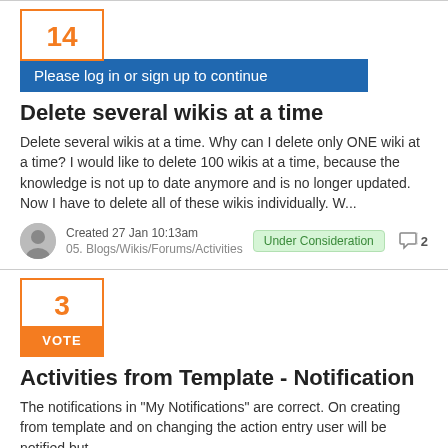[Figure (other): Vote box showing number 14 with orange border, followed by blue 'Please log in or sign up to continue' banner]
Delete several wikis at a time
Delete several wikis at a time. Why can I delete only ONE wiki at a time? I would like to delete 100 wikis at a time, because the knowledge is not up to date anymore and is no longer updated. Now I have to delete all of these wikis individually. W...
Created 27 Jan 10:13am
05. Blogs/Wikis/Forums/Activities
Under Consideration
2
[Figure (other): Vote box showing number 3 with orange border and orange VOTE button]
Activities from Template - Notification
The notifications in "My Notifications" are correct. On creating from template and on changing the action entry user will be notified but